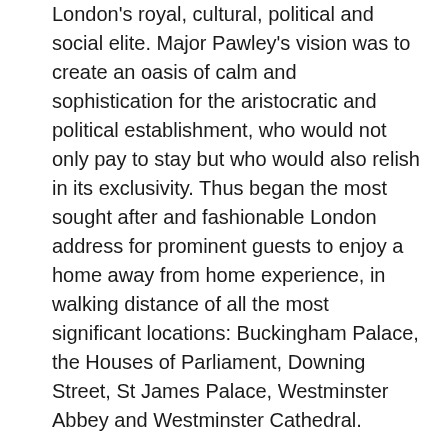London's royal, cultural, political and social elite. Major Pawley's vision was to create an oasis of calm and sophistication for the aristocratic and political establishment, who would not only pay to stay but who would also relish in its exclusivity. Thus began the most sought after and fashionable London address for prominent guests to enjoy a home away from home experience, in walking distance of all the most significant locations: Buckingham Palace, the Houses of Parliament, Downing Street, St James Palace, Westminster Abbey and Westminster Cathedral.
Each townhouse was named in keeping with its fascinating historical legacy; names that they hold to this day. Three of these townhouses, namely King's, Falconer's and Minster's form today's Taj 51 Buckingham Gate. All maintain the patina of their yesteryears, but in distinctly individual and contemporary style.
The formidable markings of its past are still present in many ways, including the Dacre family's symbolic coat of arms; an emblem of a scallop shell, which is woven in gilt into the vast wrought iron gates that guard the hotel. These shells are echoed on the enchanting